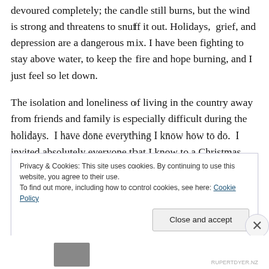devoured completely; the candle still burns, but the wind is strong and threatens to snuff it out. Holidays,  grief, and depression are a dangerous mix. I have been fighting to stay above water, to keep the fire and hope burning, and I just feel so let down.
The isolation and loneliness of living in the country away from friends and family is especially difficult during the holidays.  I have done everything I know how to do.  I invited absolutely everyone that I know to a Christmas party. 3 people came.  Don't get me wrong,  I am
Privacy & Cookies: This site uses cookies. By continuing to use this website, you agree to their use.
To find out more, including how to control cookies, see here: Cookie Policy
Close and accept